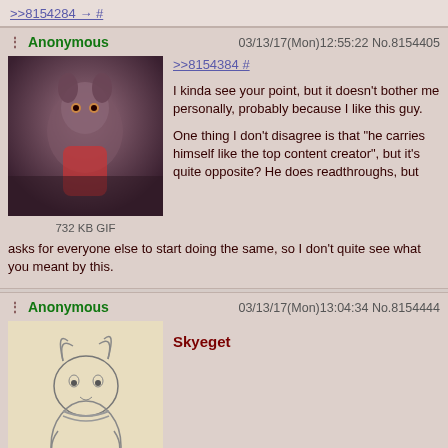>>8154284 → #
Anonymous  03/13/17(Mon)12:55:22 No.8154405
[Figure (photo): Animated character, furry mouse/bear figure, 732 KB GIF]
>>8154384 #
I kinda see your point, but it doesn't bother me personally, probably because I like this guy.

One thing I don't disagree is that "he carries himself like the top content creator", but it's quite opposite? He does readthroughs, but asks for everyone else to start doing the same, so I don't quite see what you meant by this.
Anonymous  03/13/17(Mon)13:04:34 No.8154444
[Figure (illustration): Sketch illustration of a furry rabbit/cat character hugging, 189 KB JPG]
Skyeget
>>8154451 #